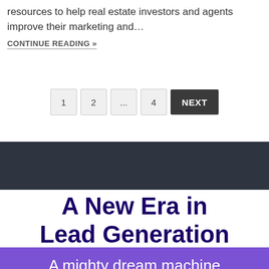resources to help real estate investors and agents improve their marketing and…
CONTINUE READING »
[Figure (other): Pagination navigation with buttons: 1, 2, ..., 4, NEXT]
[Figure (other): Dark navy/charcoal horizontal banner bar]
A New Era in Lead Generation
A mighty dream machine